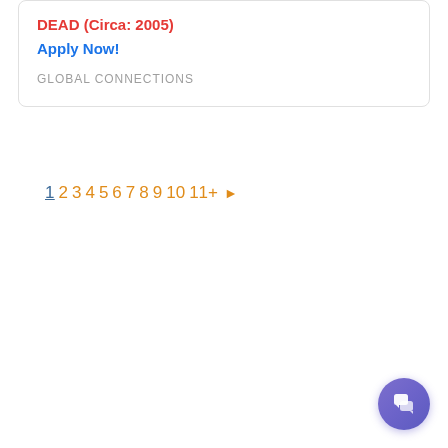DEAD (Circa: 2005)
Apply Now!
GLOBAL CONNECTIONS
1 2 3 4 5 6 7 8 9 10 11+ ▶
[Figure (other): Purple circular chat/support button with speech bubble icon in bottom-right corner]